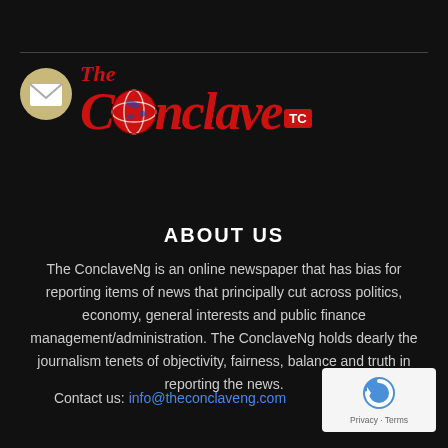[Figure (logo): The Conclave TC logo with envelope icon, red italic 'The' text, large red 'Conclave' with globe replacing the 'o', and TC badge]
ABOUT US
The ConclaveNg is an online newspaper that has bias for reporting items of news that principally cut across politics, economy, general interests and public finance management/administration. The ConclaveNg holds dearly the journalism tenets of objectivity, fairness, balance and truth in reporting the news.
Contact us: info@theconclaveng.com
[Figure (logo): Google reCAPTCHA badge with Privacy and Terms links]